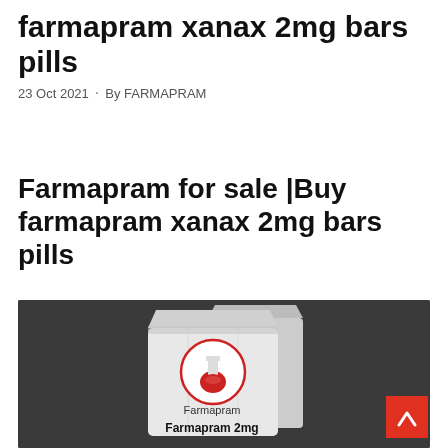farmapram xanax 2mg bars pills
23 Oct 2021 · By FARMAPRAM
Farmapram for sale |Buy farmapram xanax 2mg bars pills
[Figure (photo): White paper pharmacy bag with Farmapram logo (flask in circle) and text 'Farmapram' and 'Farmapram 2mg' on a dark grey background. A red scroll-to-top button is visible in the bottom right corner.]